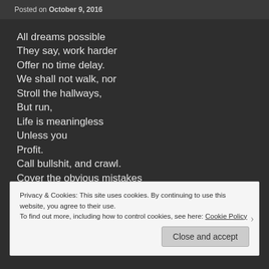Posted on October 9, 2016
All dreams possible
They say, work harder
Offer no time delay.
We shall not walk, nor
Stroll the hallways,
But run,
Life is meaningless
Unless you
Profit.
Call bullshit, and crawl.
Cover the obvious mistakes
With their grace.
Stomp the ground below
Privacy & Cookies: This site uses cookies. By continuing to use this website, you agree to their use.
To find out more, including how to control cookies, see here: Cookie Policy
Close and accept